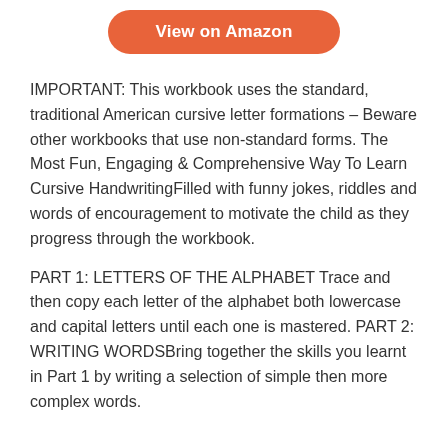[Figure (other): Orange rounded button labeled 'View on Amazon']
IMPORTANT: This workbook uses the standard, traditional American cursive letter formations – Beware other workbooks that use non-standard forms. The Most Fun, Engaging & Comprehensive Way To Learn Cursive HandwritingFilled with funny jokes, riddles and words of encouragement to motivate the child as they progress through the workbook.
PART 1: LETTERS OF THE ALPHABET Trace and then copy each letter of the alphabet both lowercase and capital letters until each one is mastered. PART 2: WRITING WORDSBring together the skills you learnt in Part 1 by writing a selection of simple then more complex words.